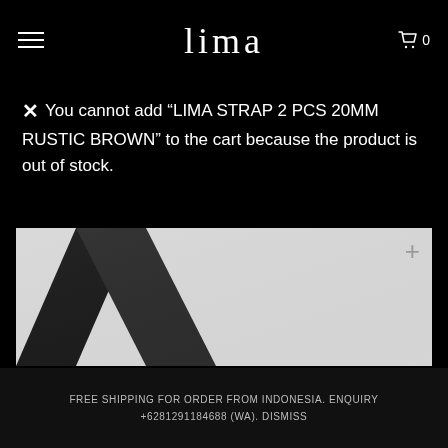LIMA
✕ You cannot add "LIMA STRAP 2 PCS 20MM RUSTIC BROWN" to the cart because the product is out of stock.
[Figure (photo): Close-up product photo of a dark/black leather watch strap on a light gray background, diagonal composition]
FREE SHIPPING FOR ORDER FROM INDONESIA. ENQUIRY +6281291184688 (WA). DISMISS